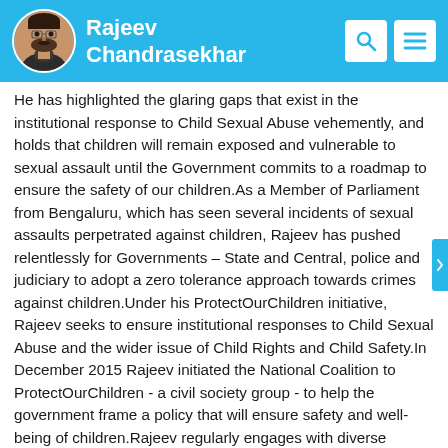Rajeev Chandrasekhar
He has highlighted the glaring gaps that exist in the institutional response to Child Sexual Abuse vehemently, and holds that children will remain exposed and vulnerable to sexual assault until the Government commits to a roadmap to ensure the safety of our children.As a Member of Parliament from Bengaluru, which has seen several incidents of sexual assaults perpetrated against children, Rajeev has pushed relentlessly for Governments – State and Central, police and judiciary to adopt a zero tolerance approach towards crimes against children.Under his ProtectOurChildren initiative, Rajeev seeks to ensure institutional responses to Child Sexual Abuse and the wider issue of Child Rights and Child Safety.In December 2015 Rajeev initiated the National Coalition to ProtectOurChildren - a civil society group - to help the government frame a policy that will ensure safety and well-being of children.Rajeev regularly engages with diverse stakeholders-parents, students, teachers, counsellors, school managements etc. apart from academics, legal experts in